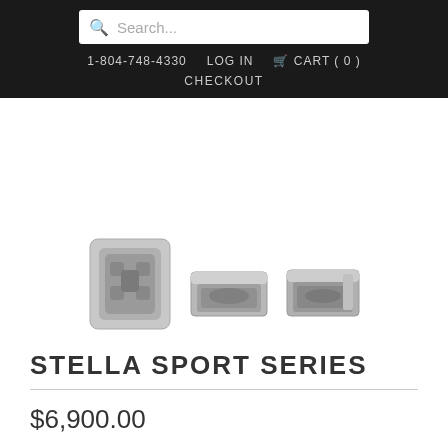Search...  1-804-748-4330  LOG IN  CART ( 0 )  CHECKOUT
[Figure (photo): Three thumbnail images of the Stella Sport Series hot tub/spa: a top-down view showing the interior layout, a front angled view of the exterior, and a side angled view of the exterior. All images show a square gray spa unit.]
STELLA SPORT SERIES
$6,900.00